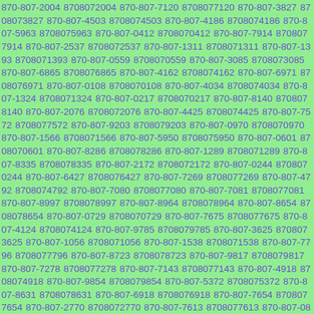870-807-2004 8708072004 870-807-7120 8708077120 870-807-3827 8708073827 870-807-4503 8708074503 870-807-4186 8708074186 870-807-5963 8708075963 870-807-0412 8708070412 870-807-7914 8708077914 870-807-2537 8708072537 870-807-1311 8708071311 870-807-1393 8708071393 870-807-0559 8708070559 870-807-3085 8708073085 870-807-6865 8708076865 870-807-4162 8708074162 870-807-6971 8708076971 870-807-0108 8708070108 870-807-4034 8708074034 870-807-1324 8708071324 870-807-0217 8708070217 870-807-8140 8708078140 870-807-2076 8708072076 870-807-4425 8708074425 870-807-7572 8708077572 870-807-9203 8708079203 870-807-0970 8708070970 870-807-1566 8708071566 870-807-5950 8708075950 870-807-0601 8708070601 870-807-8286 8708078286 870-807-1289 8708071289 870-807-8335 8708078335 870-807-2172 8708072172 870-807-0244 8708070244 870-807-6427 8708076427 870-807-7269 8708077269 870-807-4792 8708074792 870-807-7080 8708077080 870-807-7081 8708077081 870-807-8997 8708078997 870-807-8964 8708078964 870-807-8654 8708078654 870-807-0729 8708070729 870-807-7675 8708077675 870-807-4124 8708074124 870-807-9785 8708079785 870-807-3625 8708073625 870-807-1056 8708071056 870-807-1538 8708071538 870-807-7796 8708077796 870-807-8723 8708078723 870-807-9817 8708079817 870-807-7278 8708077278 870-807-7143 8708077143 870-807-4918 8708074918 870-807-9854 8708079854 870-807-5372 8708075372 870-807-8631 8708078631 870-807-6918 8708076918 870-807-7654 8708077654 870-807-2770 8708072770 870-807-7613 8708077613 870-807-084